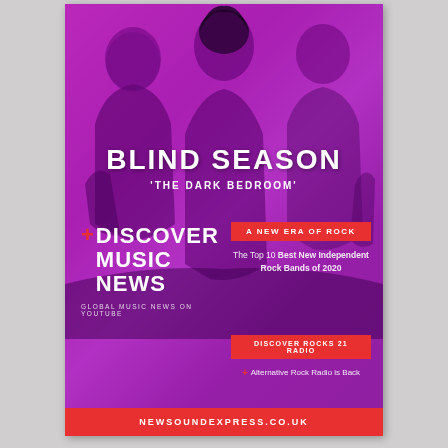[Figure (photo): Magazine/promotional page featuring three band members sitting against a magenta/purple background. The band is Blind Season, promoting their release 'The Dark Bedroom'.]
BLIND SEASON
'THE DARK BEDROOM'
+ DISCOVER MUSIC NEWS
GLOBAL MUSIC NEWS ON YOUTUBE
A NEW ERA OF ROCK
The Top 10 Best New Independent Rock Bands of 2020
DISCOVER ROCKS 21 RADIO
+ Alternative Rock Radio is Back
NEWSOUNDEXPRESS.CO.UK